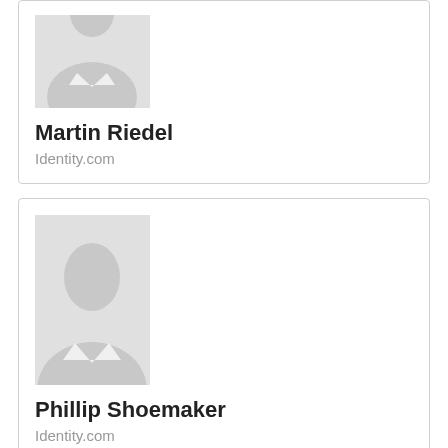[Figure (photo): Placeholder avatar image of Martin Riedel - grey silhouette of a person]
Martin Riedel
Identity.com
[Figure (photo): Placeholder avatar image of Phillip Shoemaker - grey silhouette of a person]
Phillip Shoemaker
Identity.com
IDnow GmbH